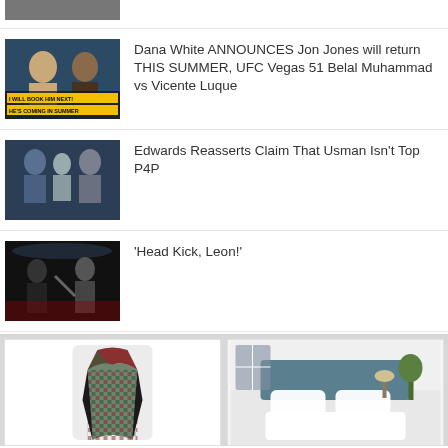[Figure (photo): Partial UFC fighter image cropped at top of page]
[Figure (photo): Dana White with text overlay 'I WILL BOOK HIM NEXT! HE'S COMING IN SUMMER']
Dana White ANNOUNCES Jon Jones will return THIS SUMMER, UFC Vegas 51 Belal Muhammad vs Vicente Luque
[Figure (photo): Two UFC fighters facing off with referee between them]
Edwards Reasserts Claim That Usman Isn’t Top P4P
[Figure (photo): UFC fighter delivering head kick in ring]
‘Head Kick, Leon!’
[Figure (photo): Advertisement: patterned blazer jacket]
[Figure (photo): Advertisement: bedroom with white bedding]